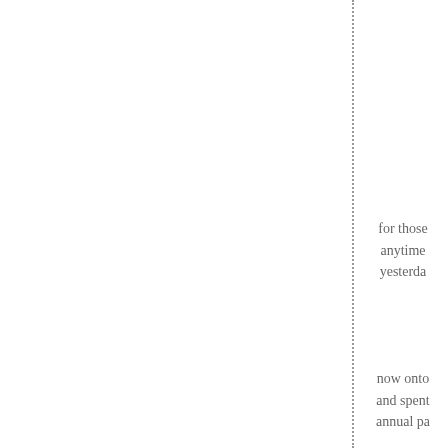for those anytime yesterda
now onto and spent annual pa